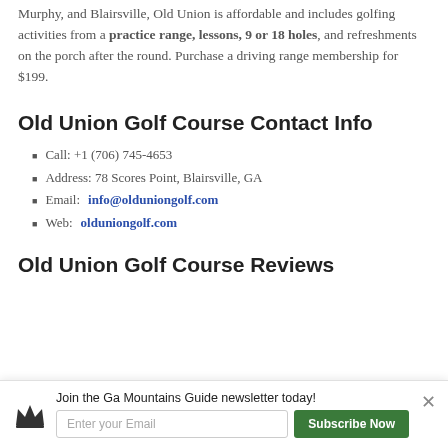Murphy, and Blairsville, Old Union is affordable and includes golfing activities from a practice range, lessons, 9 or 18 holes, and refreshments on the porch after the round. Purchase a driving range membership for $199.
Old Union Golf Course Contact Info
Call: +1 (706) 745-4653
Address: 78 Scores Point, Blairsville, GA
Email: info@olduniongolf.com
Web: olduniongolf.com
Old Union Golf Course Reviews
Join the Ga Mountains Guide newsletter today!